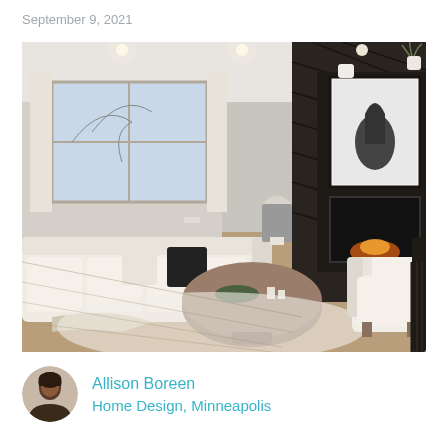September 9, 2021
[Figure (photo): Interior living room photo showing a modern farmhouse style space with a cream sectional sofa, round wood coffee table, dark shiplap accent wall with fireplace, framed black and white horse portrait above the fireplace, white vase decor, armchair, and large windows with white curtains in the background.]
Allison Boreen
Home Design, Minneapolis